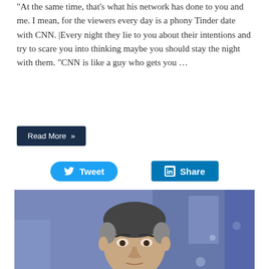“At the same time, that’s what his network has done to you and me. I mean, for the viewers every day is a phony Tinder date with CNN. |Every night they lie to you about their intentions and try to scare you into thinking maybe you should stay the night with them. “CNN is like a guy who gets you …
Read More »
[Figure (other): Tweet and Share social media buttons row]
[Figure (photo): Photo of a male TV anchor in a dark suit and tie seated at a news desk with a blue-lit studio background]
Fox Host: Teachers Hate Teaching, Hate